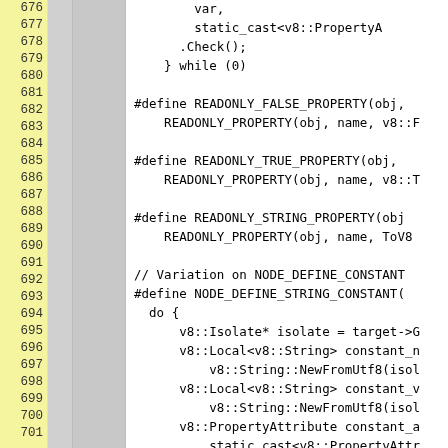[Figure (screenshot): Source code viewer showing lines 676-701 of C++ code with line numbers in yellow column on left, two gray gutter columns, and code content on right. Code includes macro definitions for READONLY_FALSE_PROPERTY, READONLY_TRUE_PROPERTY, READONLY_STRING_PROPERTY, and NODE_DEFINE_STRING_CONSTANT with v8 API calls.]